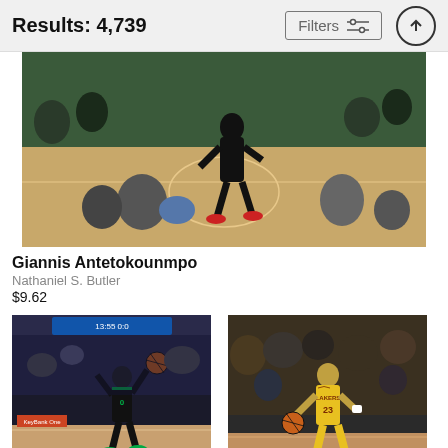Results: 4,739   Filters
[Figure (photo): Giannis Antetokounmpo action photo on basketball court, Milwaukee Bucks arena, player mid-movement near sideline]
Giannis Antetokounmpo
Nathaniel S. Butler
$9.62
[Figure (photo): Boston Celtics player number 0 shooting a jump shot in a packed arena]
[Figure (photo): LeBron James number 23 in Lakers yellow jersey dribbling in front of packed crowd]